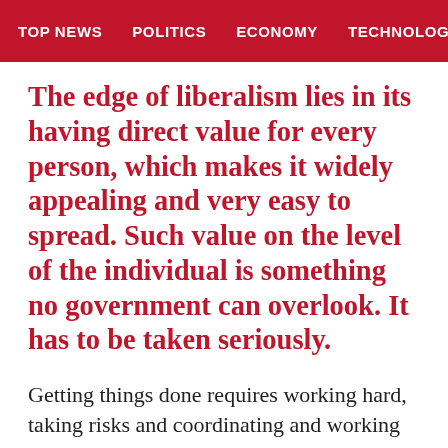TOP NEWS   POLITICS   ECONOMY   TECHNOLOG
The edge of liberalism lies in its having direct value for every person, which makes it widely appealing and very easy to spread. Such value on the level of the individual is something no government can overlook. It has to be taken seriously.
Getting things done requires working hard, taking risks and coordinating and working with different parties. To the liberalists, to whom the holders of power are axiomatically